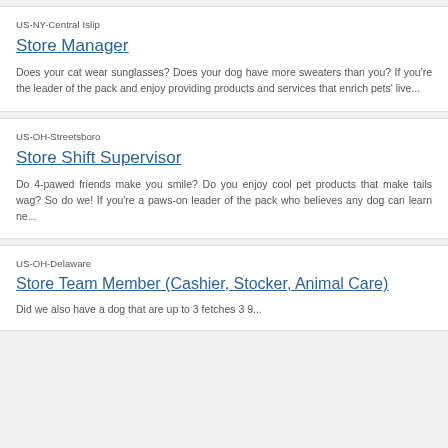US-NY-Central Islip
Store Manager
Does your cat wear sunglasses?  Does your dog have more sweaters than you?   If you're the leader of the pack and enjoy providing products and services that enrich pets' live...
US-OH-Streetsboro
Store Shift Supervisor
Do 4-pawed friends make you smile? Do you enjoy cool pet products that make tails wag? So do we! If you're a paws-on leader of the pack who believes any dog can learn ne...
US-OH-Delaware
Store Team Member (Cashier, Stocker, Animal Care)
Did we also have a dog that are up to 3 fetches 3 9...